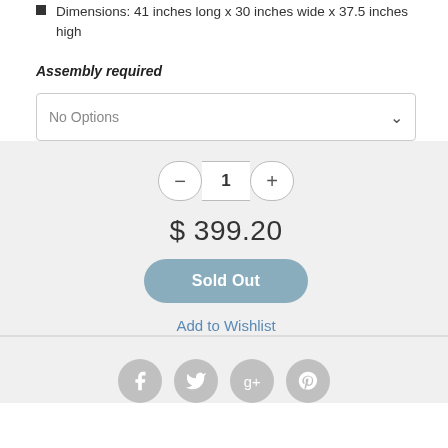Dimensions: 41 inches long x 30 inches wide x 37.5 inches high
Assembly required
No Options
1
$ 399.20
Sold Out
Add to Wishlist
[Figure (other): Social media icons: Facebook, Twitter, Google+, Pinterest]